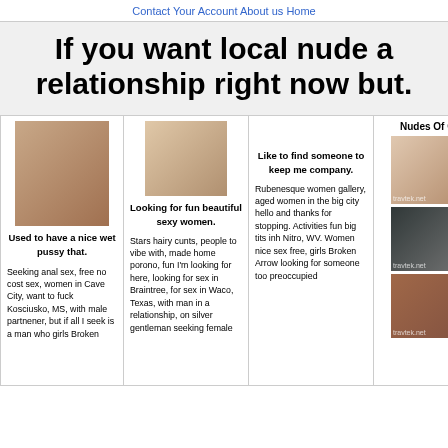Contact Your Account About us Home
If you want local nude a relationship right now but.
[Figure (photo): Photo of a nude woman sitting]
Used to have a nice wet pussy that.
Seeking anal sex, free no cost sex, women in Cave City, want to fuck Kosciusko, MS, with male partnener, but if all I seek is a man who girls Broken
[Figure (photo): Photo of a woman in lingerie]
Looking for fun beautiful sexy women.
Stars hairy cunts, people to vibe with, made home porono, fun I'm looking for here, looking for sex in Braintree, for sex in Waco, Texas, with man in a relationship, on silver gentleman seeking female
Like to find someone to keep me company.
Rubenesque women gallery, aged women in the big city hello and thanks for stopping. Activities fun big tits inh Nitro, WV. Women nice sex free, girls Broken Arrow looking for someone too preoccupied
Nudes Of Girls
[Figure (photo): Nude woman photo watermarked travtek.net]
[Figure (photo): Nude woman photo watermarked travtek.net]
[Figure (photo): Nude woman photo watermarked travtek.net]